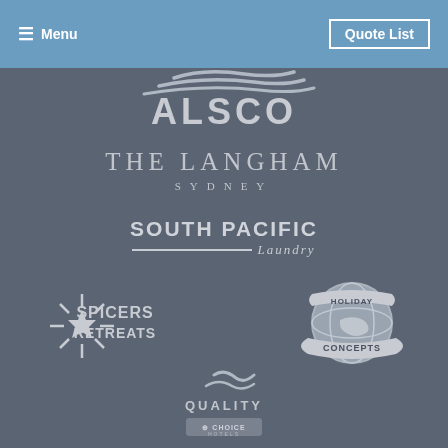Menu | Quote List
[Figure (logo): ALSCO logo with swoosh wave marks above bold text]
[Figure (logo): The Langham Sydney logo in serif font]
[Figure (logo): South Pacific Laundry logo with horizontal line divider]
[Figure (logo): Spicers Retreats logo with starburst graphic]
[Figure (logo): Holiday Concepts globe logo]
[Figure (logo): Quality Choice Hotels logo with wave graphic]